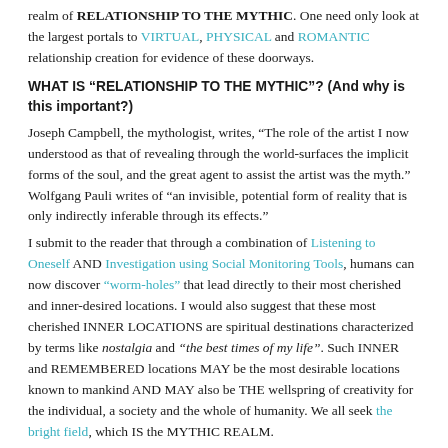realm of RELATIONSHIP TO THE MYTHIC. One need only look at the largest portals to VIRTUAL, PHYSICAL and ROMANTIC relationship creation for evidence of these doorways.
WHAT IS “RELATIONSHIP TO THE MYTHIC”? (And why is this important?)
Joseph Campbell, the mythologist, writes, “The role of the artist I now understood as that of revealing through the world-surfaces the implicit forms of the soul, and the great agent to assist the artist was the myth.” Wolfgang Pauli writes of “an invisible, potential form of reality that is only indirectly inferable through its effects.”
I submit to the reader that through a combination of Listening to Oneself AND Investigation using Social Monitoring Tools, humans can now discover “worm-holes” that lead directly to their most cherished and inner-desired locations. I would also suggest that these most cherished INNER LOCATIONS are spiritual destinations characterized by terms like nostalgia and “the best times of my life”. Such INNER and REMEMBERED locations MAY be the most desirable locations known to mankind AND MAY also be THE wellspring of creativity for the individual, a society and the whole of humanity. We all seek the bright field, which IS the MYTHIC REALM.